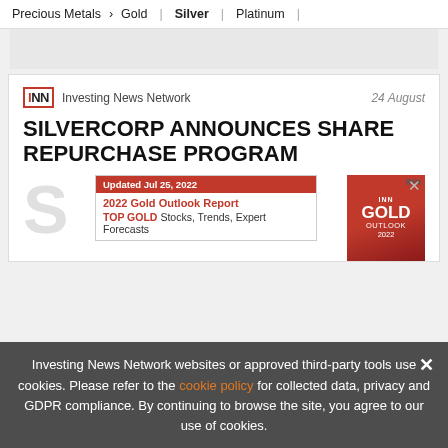Precious Metals > Gold | Silver | Platinum |
[Figure (other): Advertisement placeholder banner]
INN Investing News Network   24 August
SILVERCORP ANNOUNCES SHARE REPURCHASE PROGRAM
[Figure (other): 2022 Gold Outlook Report advertisement overlay with INN logo and gold book cover image. Updated Jul 25, 2022. TOP GOLD Stocks, Trends, Expert Forecasts]
Investing News Network websites or approved third-party tools use cookies. Please refer to the cookie policy for collected data, privacy and GDPR compliance. By continuing to browse the site, you agree to our use of cookies.